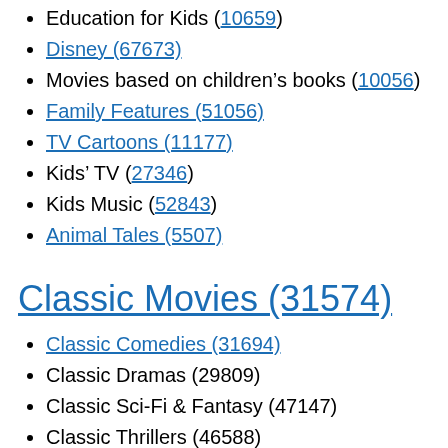Education for Kids (10659)
Disney (67673)
Movies based on children's books (10056)
Family Features (51056)
TV Cartoons (11177)
Kids' TV (27346)
Kids Music (52843)
Animal Tales (5507)
Classic Movies (31574)
Classic Comedies (31694)
Classic Dramas (29809)
Classic Sci-Fi & Fantasy (47147)
Classic Thrillers (46588)
Film Noir (7687)